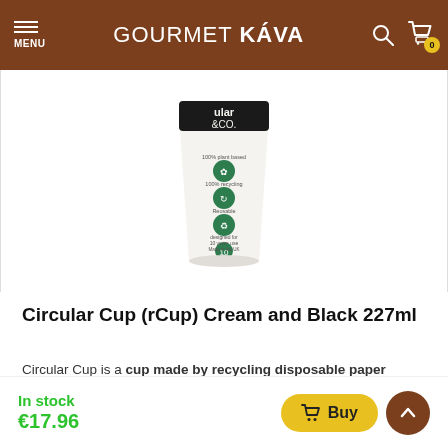GOURMET KÁVA
[Figure (photo): A Circular &Co. reusable cup in cream and black, 227ml, showing green eco certification icons on the body and a black lid.]
Circular Cup (rCup) Cream and Black 227ml
Circular Cup is a cup made by recycling disposable paper cups:) Reusable. 227ml.
In stock
€17.96